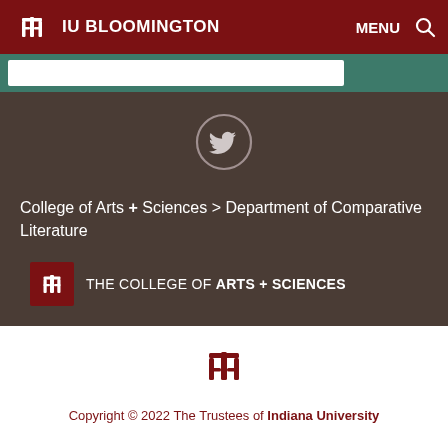IU BLOOMINGTON  MENU
[Figure (logo): Indiana University trident torch logo in white on dark red background, navigation bar]
[Figure (illustration): Twitter bird icon inside a grey circle outline, centered on dark brown background]
College of Arts + Sciences > Department of Comparative Literature
[Figure (logo): Indiana University trident torch logo on red square, next to text THE COLLEGE OF ARTS + SCIENCES]
[Figure (logo): Indiana University trident torch logo in dark red on white background]
Copyright © 2022 The Trustees of Indiana University